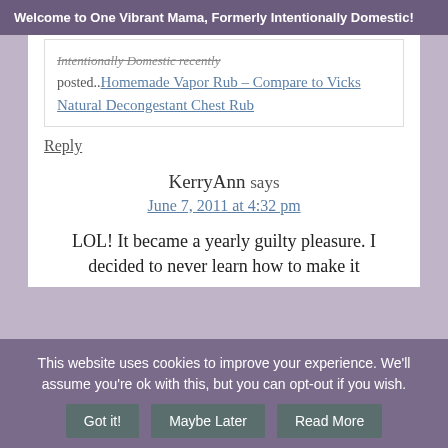Welcome to One Vibrant Mama, Formerly Intentionally Domestic!
posted..Homemade Vapor Rub – Compare to Vicks Natural Decongestant Chest Rub
Reply
KerryAnn says
June 7, 2011 at 4:32 pm
LOL! It became a yearly guilty pleasure. I decided to never learn how to make it
This website uses cookies to improve your experience. We'll assume you're ok with this, but you can opt-out if you wish. Got it! Maybe Later Read More